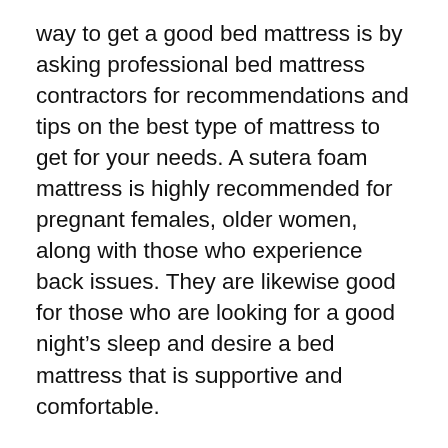way to get a good bed mattress is by asking professional bed mattress contractors for recommendations and tips on the best type of mattress to get for your needs. A sutera foam mattress is highly recommended for pregnant females, older women, along with those who experience back issues. They are likewise good for those who are looking for a good night's sleep and desire a bed mattress that is supportive and comfortable.
The mattress is actually composed of numerous layers and the innermost layer is called the “air layer”. Air supports the weight of the body and so it attends to a very comfortable sleeping condition. The “waffle layer” provides additional support for the back. Last but not least, there is the